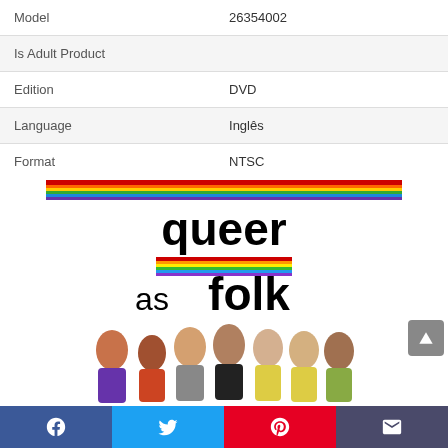| Attribute | Value |
| --- | --- |
| Model | 26354002 |
| Is Adult Product |  |
| Edition | DVD |
| Language | Inglês |
| Format | NTSC |
[Figure (photo): Queer as Folk DVD cover showing the show logo with a rainbow stripe above and a group of cast members below]
Facebook | Twitter | Pinterest | Email